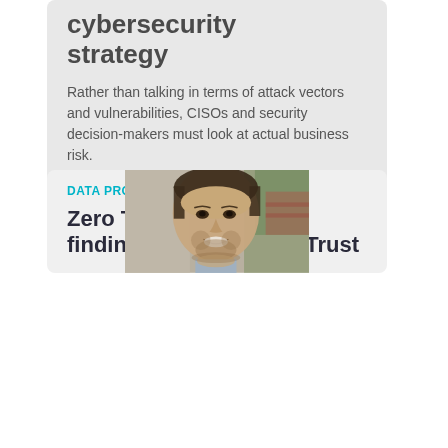cybersecurity strategy
Rather than talking in terms of attack vectors and vulnerabilities, CISOs and security decision-makers must look at actual business risk.
[Figure (photo): Smiling man with short dark hair and beard, blurred outdoor background with greenery and red brick.]
DATA PROTECTION
Zero Trust, but verify - finding the OT in ZerO Trust